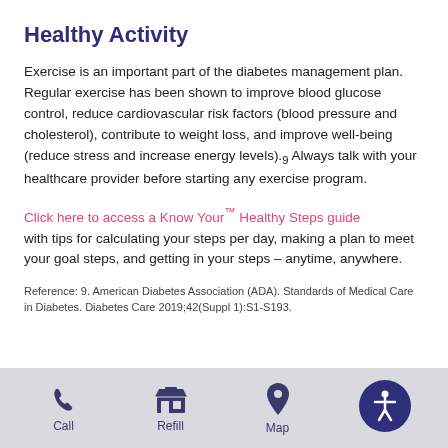Healthy Activity
Exercise is an important part of the diabetes management plan. Regular exercise has been shown to improve blood glucose control, reduce cardiovascular risk factors (blood pressure and cholesterol), contribute to weight loss, and improve well-being (reduce stress and increase energy levels).9 Always talk with your healthcare provider before starting any exercise program.
Click here to access a Know Your™ Healthy Steps guide with tips for calculating your steps per day, making a plan to meet your goal steps, and getting in your steps – anytime, anywhere.
Reference: 9. American Diabetes Association (ADA). Standards of Medical Care in Diabetes. Diabetes Care 2019;42(Suppl 1):S1-S193.
[Figure (infographic): App navigation footer bar with Call, Refill, Map icons and accessibility button]